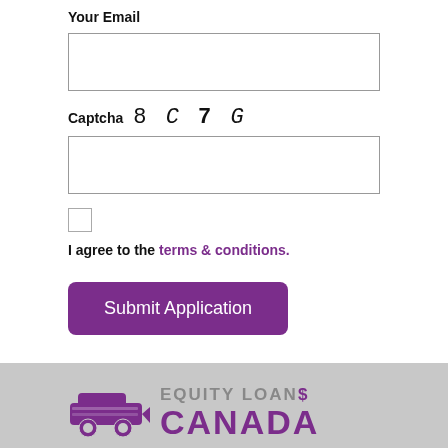Your Email
Captcha 8 C 7 G
I agree to the terms & conditions.
Submit Application
[Figure (logo): Equity Loans Canada logo with car icon and purple text]
We are a car title loan lending company that uses the equity in an